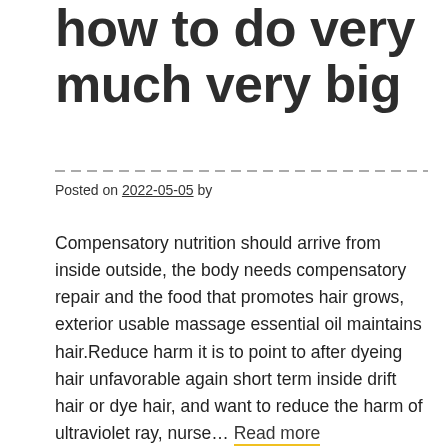how to do very much very big
Posted on 2022-05-05 by
Compensatory nutrition should arrive from inside outside, the body needs compensatory repair and the food that promotes hair grows, exterior usable massage essential oil maintains hair.Reduce harm it is to point to after dyeing hair unfavorable again short term inside drift hair or dye hair, and want to reduce the harm of ultraviolet ray, nurse… Read more